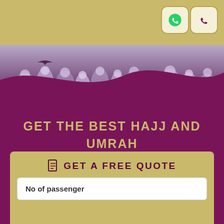[Figure (photo): Header area with golden/tan background bar and a photo of pilgrims in white garments at top, with wave-shaped purple overlay]
[Figure (logo): WhatsApp icon in rounded square button on top right]
[Figure (logo): Phone/call icon in rounded square button on top right]
GET THE BEST HAJJ AND UMRAH PACKAGES AT CHEAPEST PRICE BY CHEAPEST UMRAH
GET A FREE QUOTE
No of passenger